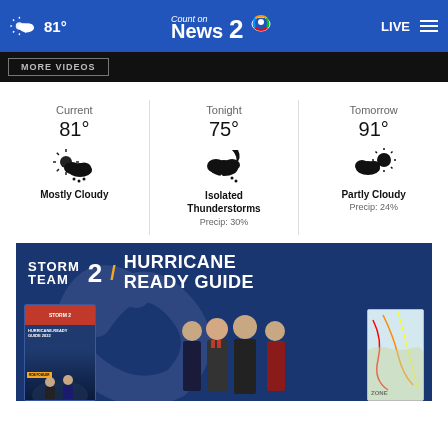81° | Count on News 2 | LIVE
MORE VIDEOS
[Figure (infographic): Weather widget showing three panels: Current 81° Mostly Cloudy, Tonight 75° Isolated Thunderstorms Precip: 30%, Tomorrow 91° Partly Cloudy Precip: 24%]
[Figure (infographic): Storm Team 2 Hurricane Ready Guide advertisement showing a booklet cover with meteorologists and a hurricane track map]